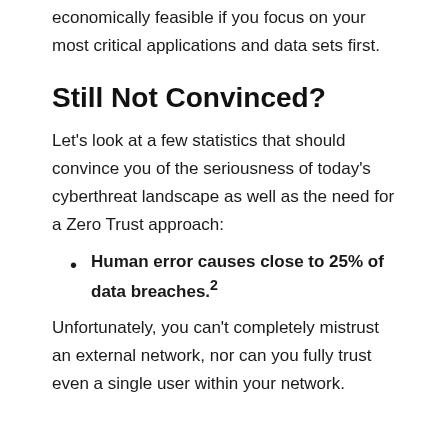Zero Trust adoption is operationally and economically feasible if you focus on your most critical applications and data sets first.
Still Not Convinced?
Let's look at a few statistics that should convince you of the seriousness of today's cyberthreat landscape as well as the need for a Zero Trust approach:
Human error causes close to 25% of data breaches.²
Unfortunately, you can't completely mistrust an external network, nor can you fully trust even a single user within your network.